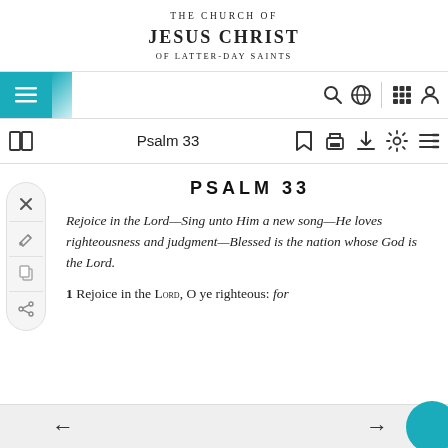THE CHURCH OF JESUS CHRIST OF LATTER-DAY SAINTS
[Figure (screenshot): Navigation bar with hamburger menu icon on teal background, search icon, globe icon, grid icon, and person icon]
[Figure (screenshot): Toolbar with open book icon, Psalm 33 label, bookmark, print, download, settings, and list icons]
[Figure (screenshot): Side toolbar with X, pencil, copy, and share icons]
PSALM 33
Rejoice in the Lord—Sing unto Him a new song—He loves righteousness and judgment—Blessed is the nation whose God is the Lord.
1 Rejoice in the Lord, O ye righteous: for
← →